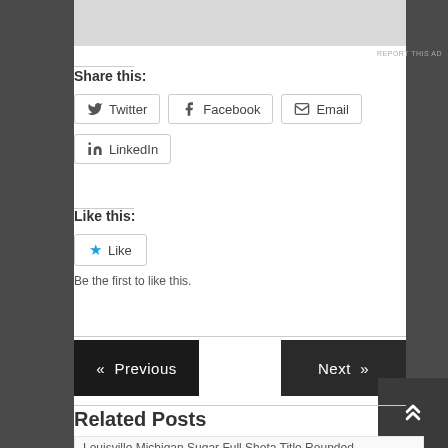[Figure (other): Gray advertisement placeholder box at top]
REPORT THIS AD
Share this:
Twitter  Facebook  Email  LinkedIn
Like this:
★ Like
Be the first to like this.
« Previous   Next »
Related Posts
Louisville Michigan Sugar Full Shota Title Rounded...